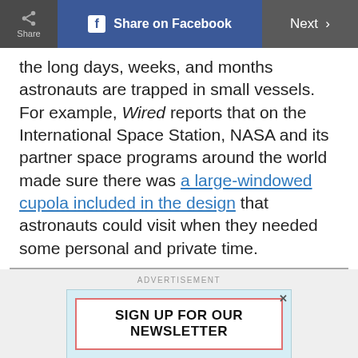Share | Share on Facebook | Next
the long days, weeks, and months astronauts are trapped in small vessels. For example, Wired reports that on the International Space Station, NASA and its partner space programs around the world made sure there was a large-windowed cupola included in the design that astronauts could visit when they needed some personal and private time.
[Figure (other): Advertisement banner: SIGN UP FOR OUR NEWSLETTER - Get articles sent right to your inbox.]